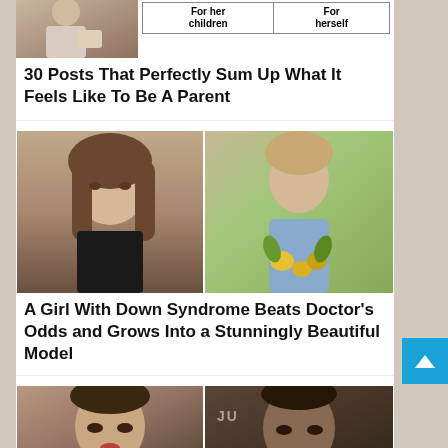[Figure (photo): Thumbnail photo of a parent sitting with child, partially cropped at top]
[Figure (table-as-image): Small table with two columns: 'For her children' and 'For herself']
30 Posts That Perfectly Sum Up What It Feels Like To Be A Parent
[Figure (photo): Two side-by-side photos of a girl with Down Syndrome — left: close-up portrait with long brown hair, right: outdoor photo in floral dress with flowers]
A Girl With Down Syndrome Beats Doctor's Odds and Grows Into a Stunningly Beautiful Model
[Figure (photo): Two side-by-side photos of Jennifer Lopez — left: glamour shot with braided updo, right: photo at awards event]
[Figure (other): Scroll-to-top button (blue square with white upward arrow)]